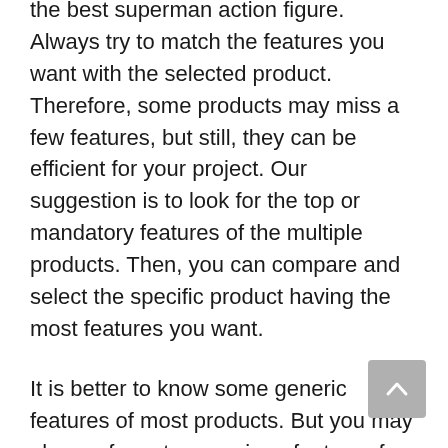the best superman action figure. Always try to match the features you want with the selected product. Therefore, some products may miss a few features, but still, they can be efficient for your project. Our suggestion is to look for the top or mandatory features of the multiple products. Then, you can compare and select the specific product having the most features you want.
It is better to know some generic features of most products. But you may also prefer extra or unique features for better satisfaction. Thus, we have focused on top practical features in this review list with correct details. Now, save your time and enjoy buying the product.